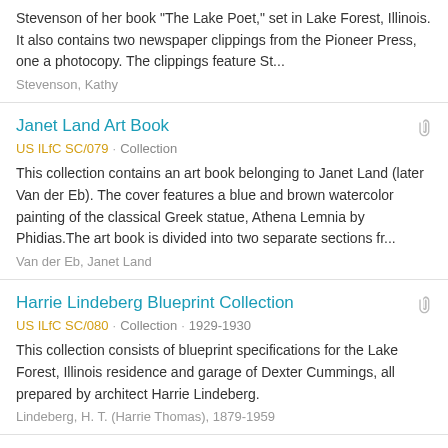Stevenson of her book "The Lake Poet," set in Lake Forest, Illinois. It also contains two newspaper clippings from the Pioneer Press, one a photocopy. The clippings feature St...
Stevenson, Kathy
Janet Land Art Book
US ILfC SC/079 · Collection
This collection contains an art book belonging to Janet Land (later Van der Eb). The cover features a blue and brown watercolor painting of the classical Greek statue, Athena Lemnia by Phidias.The art book is divided into two separate sections fr...
Van der Eb, Janet Land
Harrie Lindeberg Blueprint Collection
US ILfC SC/080 · Collection · 1929-1930
This collection consists of blueprint specifications for the Lake Forest, Illinois residence and garage of Dexter Cummings, all prepared by architect Harrie Lindeberg.
Lindeberg, H. T. (Harrie Thomas), 1879-1959
Jennings Tennis School Scrapbook
US ILfC SC/081 · Collection · 1957-1962